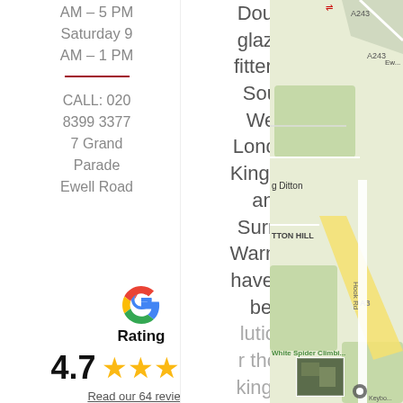AM - 5 PM Saturday 9 AM - 1 PM
CALL: 020 8399 3377 7 Grand Parade Ewell Road
Double glazing fitters in South West London, Kingston and Surrey. Warmlite have the best solutions for those looking for quality
[Figure (logo): Google 'G' logo]
Rating
4.7 ★★★★★ Read our 64 reviews
[Figure (map): Google Maps showing area around Hook Road, A3, White Spider Climbing, g Ditton, Tton Hill, A243]